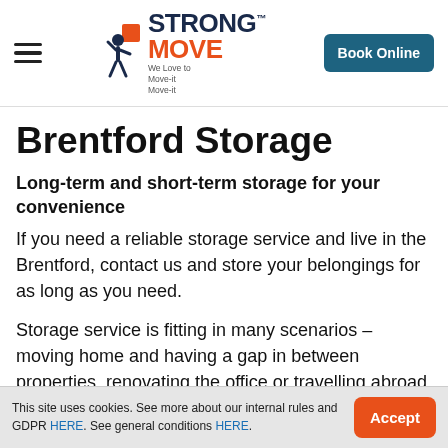Strong Move — We Love to Move-it Move-it | Book Online
Brentford Storage
Long-term and short-term storage for your convenience
If you need a reliable storage service and live in the Brentford, contact us and store your belongings for as long as you need.
Storage service is fitting in many scenarios – moving home and having a gap in between properties, renovating the office or travelling abroad.
This site uses cookies. See more about our internal rules and GDPR HERE. See general conditions HERE.